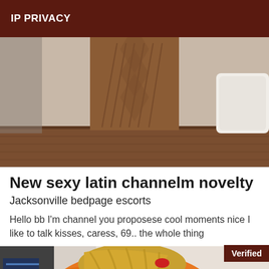IP PRIVACY
[Figure (photo): Bedroom scene showing wooden headboard and white pillow on right side]
New sexy latin channelm novelty
Jacksonville bedpage escorts
Hello bb I'm channel you proposese cool moments nice I like to talk kisses, caress, 69.. the whole thing
[Figure (photo): Person wearing orange clothing lying face down, blonde hair, on white surface with Verified badge]
Verified